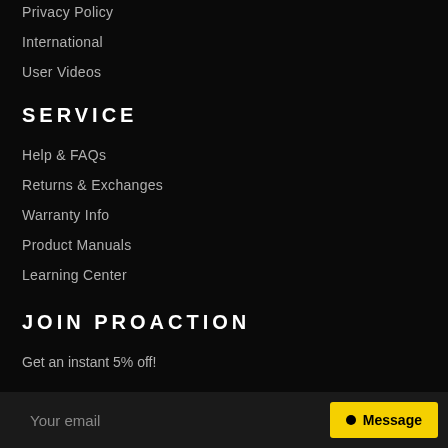Privacy Policy
International
User Videos
SERVICE
Help & FAQs
Returns & Exchanges
Warranty Info
Product Manuals
Learning Center
JOIN PROACTION
Get an instant 5% off!
Your email
Message